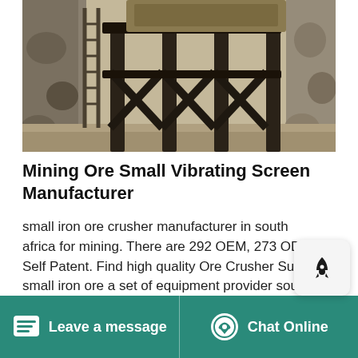[Figure (photo): Industrial mining vibrating screen machine mounted on a heavy steel frame structure, photographed outdoors against a rocky background.]
Mining Ore Small Vibrating Screen Manufacturer
small iron ore crusher manufacturer in south africa for mining. There are 292 OEM, 273 ODM Self Patent. Find high quality Ore Crusher Supp . small iron ore a set of equipment provider south africa. 2018 08 14 Qingzhou Yongli Mining and Dredging Machinery Co., is a modern and formal ore machine manufacturer, which is professional at producing all kinds of mining equipment with ...
Leave a message
Chat Online